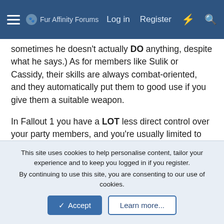Fur Affinity Forums  Log in  Register
sometimes he doesn't actually DO anything, despite what he says.) As for members like Sulik or Cassidy, their skills are always combat-oriented, and they automatically put them to good use if you give them a suitable weapon.
In Fallout 1 you have a LOT less direct control over your party members, and you're usually limited to simple dialog choices to try and make them change their behavior slightly. The only way you can get them to use better weapons (not sure about armor) is to use Steal on them and plant the weapon/item in their inventory, as far as I know. There are mods that change this, I think.
Only things that downright frustrated the hell out of me in BG
This site uses cookies to help personalise content, tailor your experience and to keep you logged in if you register.
By continuing to use this site, you are consenting to our use of cookies.